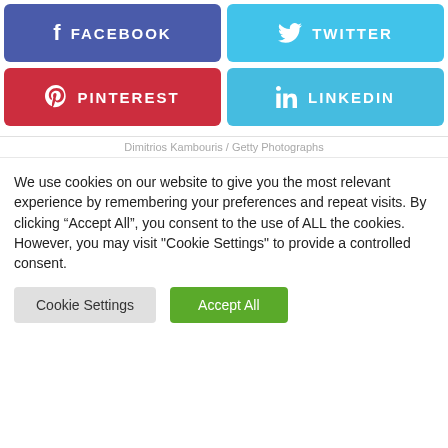[Figure (infographic): Social sharing buttons: Facebook (purple-blue), Twitter (light blue), Pinterest (red), LinkedIn (light blue)]
Dimitrios Kambouris / Getty Photographs
We use cookies on our website to give you the most relevant experience by remembering your preferences and repeat visits. By clicking “Accept All”, you consent to the use of ALL the cookies. However, you may visit "Cookie Settings" to provide a controlled consent.
Cookie Settings | Accept All